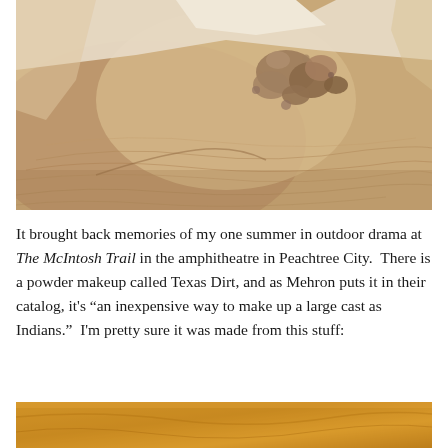[Figure (photo): Aerial or close-up view of sandy desert terrain with layered sand formations and scattered rocks in warm pinkish-tan tones.]
It brought back memories of my one summer in outdoor drama at The McIntosh Trail in the amphitheatre in Peachtree City.  There is a powder makeup called Texas Dirt, and as Mehron puts it in their catalog, it's “an inexpensive way to make up a large cast as Indians.”  I'm pretty sure it was made from this stuff:
[Figure (photo): Close-up photo of golden sandy dirt or soil texture, warm orange-tan tones, partially visible at bottom of page.]